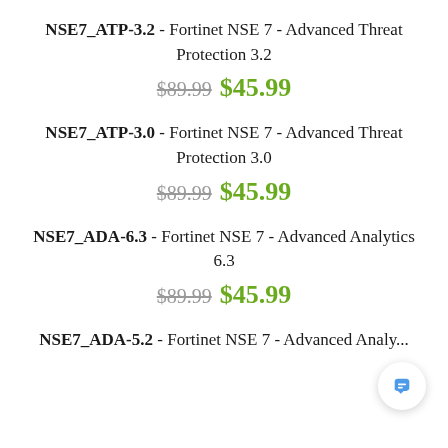NSE7_ATP-3.2 - Fortinet NSE 7 - Advanced Threat Protection 3.2
$89.99  $45.99
NSE7_ATP-3.0 - Fortinet NSE 7 - Advanced Threat Protection 3.0
$89.99  $45.99
NSE7_ADA-6.3 - Fortinet NSE 7 - Advanced Analytics 6.3
$89.99  $45.99
NSE7_ADA-5.2 - Fortinet NSE 7 - Advanced Analytics...